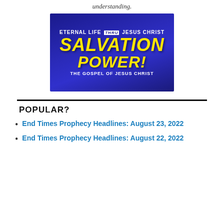understanding.
[Figure (illustration): Banner image with dark blue background showing text: 'ETERNAL LIFE THRU JESUS CHRIST' at top, large yellow italic 'SALVATION POWER!' in center, and 'THE GOSPEL OF JESUS CHRIST' at bottom.]
POPULAR?
End Times Prophecy Headlines: August 23, 2022
End Times Prophecy Headlines: August 22, 2022